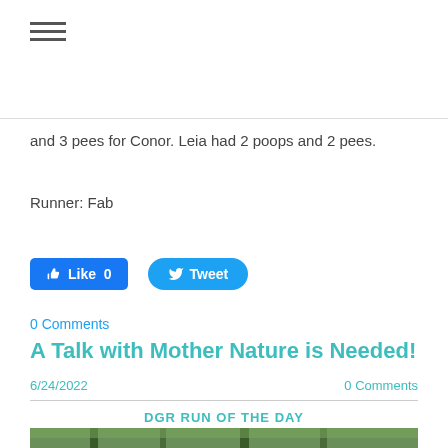≡ (hamburger menu)
and 3 pees for Conor. Leia had 2 poops and 2 pees.
Runner: Fab
[Figure (other): Facebook Like button (0 likes) and Twitter Tweet button]
0 Comments
A Talk with Mother Nature is Needed!
6/24/2022    0 Comments
DGR RUN OF THE DAY
[Figure (photo): Outdoor trail path with green grass and trees on both sides]